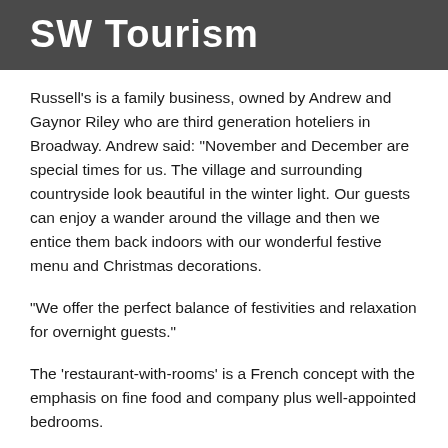SW Tourism
Russell’s is a family business, owned by Andrew and Gaynor Riley who are third generation hoteliers in Broadway. Andrew said: “November and December are special times for us. The village and surrounding countryside look beautiful in the winter light. Our guests can enjoy a wander around the village and then we entice them back indoors with our wonderful festive menu and Christmas decorations.
“We offer the perfect balance of festivities and relaxation for overnight guests.”
The ‘restaurant-with-rooms’ is a French concept with the emphasis on fine food and company plus well-appointed bedrooms.
Special Offer: Russell’s is offering a special deal for November visitors – normal room rates apply but include a Fixed Price two-course dinner each evening, UPGRADE to the A La Carte menu and receive 50% off your meal (food only). As Russell’s is closed on Sunday evenings, the offer would include a two-course Sunday lunch instead